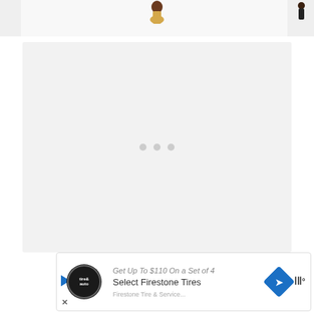[Figure (photo): Partial photo at top showing white background with small decorative doll figure in the center and a dark figure at right edge]
[Figure (other): Large light gray content/loading placeholder box with three small gray dots in the center, indicating a loading or empty content area]
[Figure (other): Advertisement banner: Firestone tires ad with tire logo, blue play button arrow, X close button. Text: 'Get Up To $110 On a Set of 4 Select Firestone Tires' with navigation/Waze icons on right]